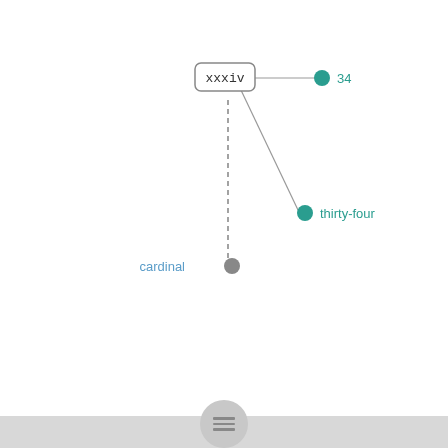[Figure (network-graph): A network graph showing a node labeled 'xxxiv' in a rounded rectangle, connected by a solid line to a teal circle node labeled '34', connected by a solid line to a teal circle node labeled 'thirty-four', and connected by a dashed line to a gray circle node labeled 'cardinal'.]